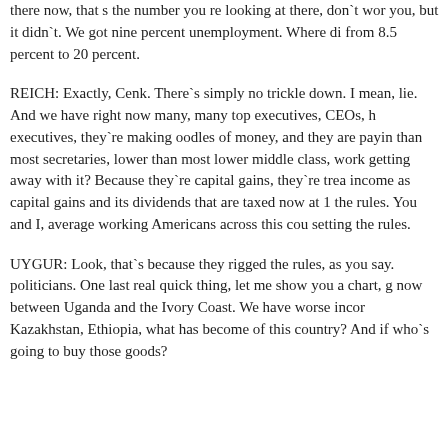there now, that s the number you re looking at there, don t wor you, but it didn`t. We got nine percent unemployment. Where di from 8.5 percent to 20 percent.
REICH: Exactly, Cenk. There`s simply no trickle down. I mean, lie. And we have right now many, many top executives, CEOs, h executives, they`re making oodles of money, and they are payin than most secretaries, lower than most lower middle class, work getting away with it? Because they`re capital gains, they`re trea income as capital gains and its dividends that are taxed now at 1 the rules. You and I, average working Americans across this cou setting the rules.
UYGUR: Look, that`s because they rigged the rules, as you say. politicians. One last real quick thing, let me show you a chart, g now between Uganda and the Ivory Coast. We have worse incor Kazakhstan, Ethiopia, what has become of this country? And if who`s going to buy those goods?